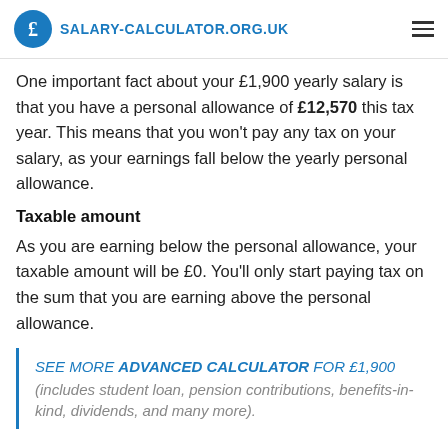SALARY-CALCULATOR.ORG.UK
One important fact about your £1,900 yearly salary is that you have a personal allowance of £12,570 this tax year. This means that you won't pay any tax on your salary, as your earnings fall below the yearly personal allowance.
Taxable amount
As you are earning below the personal allowance, your taxable amount will be £0. You'll only start paying tax on the sum that you are earning above the personal allowance.
SEE MORE ADVANCED CALCULATOR FOR £1,900 (includes student loan, pension contributions, benefits-in-kind, dividends, and many more).